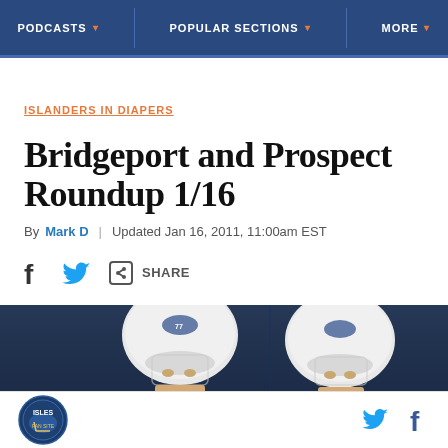PODCASTS | POPULAR SECTIONS | MORE
ISLANDERS IN DIAPERS
Bridgeport and Prospect Roundup 1/16
By Mark D | Updated Jan 16, 2011, 11:00am EST
[Figure (other): Social share bar with Facebook, Twitter, and share link icons]
[Figure (photo): Two hockey players in white helmets on ice rink, dark blue arena background]
Site logo and social media icons (Twitter, Facebook)